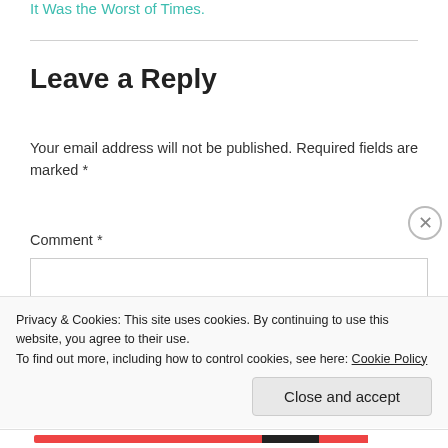It Was the Worst of Times.
Leave a Reply
Your email address will not be published. Required fields are marked *
Comment *
Privacy & Cookies: This site uses cookies. By continuing to use this website, you agree to their use.
To find out more, including how to control cookies, see here: Cookie Policy
Close and accept